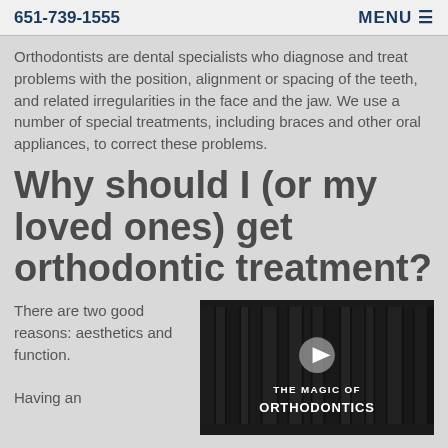651-739-1555  MENU
Orthodontists are dental specialists who diagnose and treat problems with the position, alignment or spacing of the teeth, and related irregularities in the face and the jaw. We use a number of special treatments, including braces and other oral appliances, to correct these problems.
Why should I (or my loved ones) get orthodontic treatment?
There are two good reasons: aesthetics and function.
Having an
[Figure (screenshot): Video thumbnail with dark curtain background, play button in center, and text 'THE MAGIC OF ORTHODONTICS' at the bottom in white bold letters.]